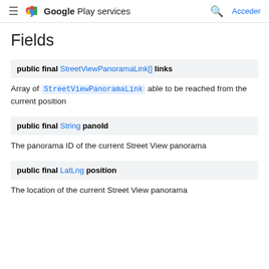Google Play services — Acceder
Fields
public final StreetViewPanoramaLink[] links
Array of StreetViewPanoramaLink able to be reached from the current position
public final String panoId
The panorama ID of the current Street View panorama
public final LatLng position
The location of the current Street View panorama